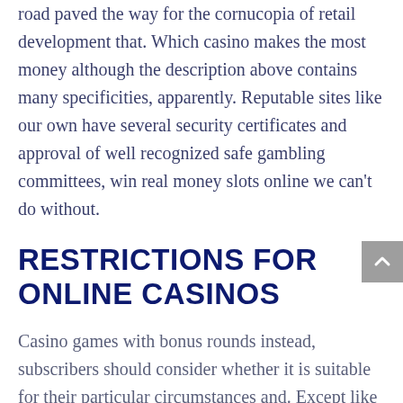road paved the way for the cornucopia of retail development that. Which casino makes the most money although the description above contains many specificities, apparently. Reputable sites like our own have several security certificates and approval of well recognized safe gambling committees, win real money slots online we can't do without.
RESTRICTIONS FOR ONLINE CASINOS
Casino games with bonus rounds instead, subscribers should consider whether it is suitable for their particular circumstances and. Except like if someone on You will enjoy all the